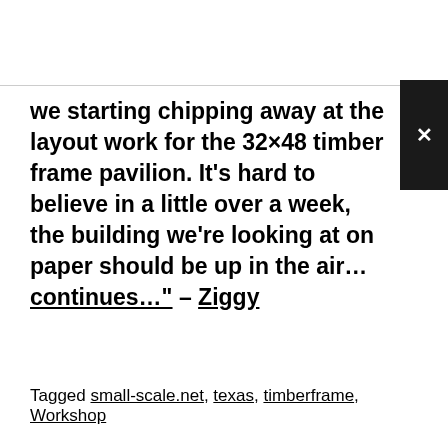we starting chipping away at the layout work for the 32×48 timber frame pavilion. It's hard to believe in a little over a week, the building we're looking at on paper should be up in the air… continues…" – Ziggy
Tagged small-scale.net, texas, timberframe, Workshop